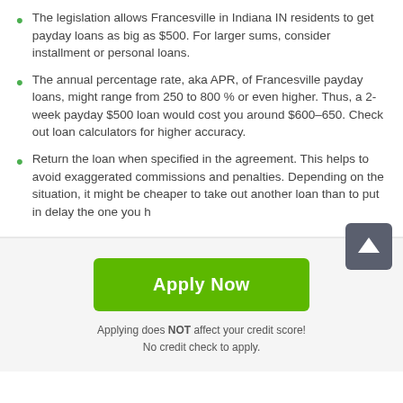The legislation allows Francesville in Indiana IN residents to get payday loans as big as $500. For larger sums, consider installment or personal loans.
The annual percentage rate, aka APR, of Francesville payday loans, might range from 250 to 800 % or even higher. Thus, a 2-week payday $500 loan would cost you around $600–650. Check out loan calculators for higher accuracy.
Return the loan when specified in the agreement. This helps to avoid exaggerated commissions and penalties. Depending on the situation, it might be cheaper to take out another loan than to put in delay the one you h…
[Figure (other): Green 'Apply Now' button]
Applying does NOT affect your credit score!
No credit check to apply.